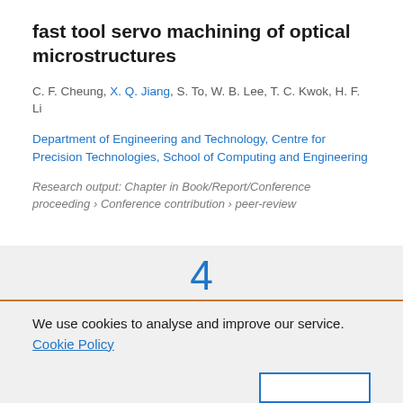fast tool servo machining of optical microstructures
C. F. Cheung, X. Q. Jiang, S. To, W. B. Lee, T. C. Kwok, H. F. Li
Department of Engineering and Technology, Centre for Precision Technologies, School of Computing and Engineering
Research output: Chapter in Book/Report/Conference proceeding › Conference contribution › peer-review
4
We use cookies to analyse and improve our service. Cookie Policy